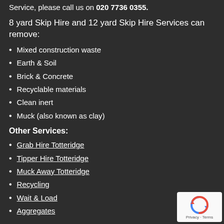Service, please call us on 020 7736 0355.
8 yard Skip Hire and 12 yard Skip Hire Services can remove:
Mixed construction waste
Earth & Soil
Brick & Concrete
Recyclable materials
Clean inert
Muck (also known as clay)
Other Services:
Grab Hire Totteridge
Tipper Hire Totteridge
Muck Away Totteridge
Recycling
Wait & Load
Aggregates